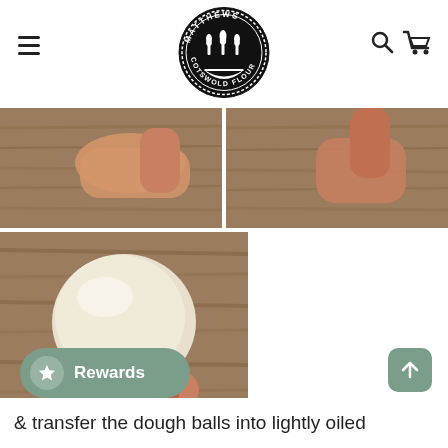[Figure (logo): Matthews Cotswold Flour circular logo with wheat sheaf design in black and white]
[Figure (photo): Two side-by-side photos of hands kneading dough on a wooden surface]
[Figure (photo): A hand holding a smooth round dough ball above a wooden surface]
& transfer the dough balls into lightly oiled